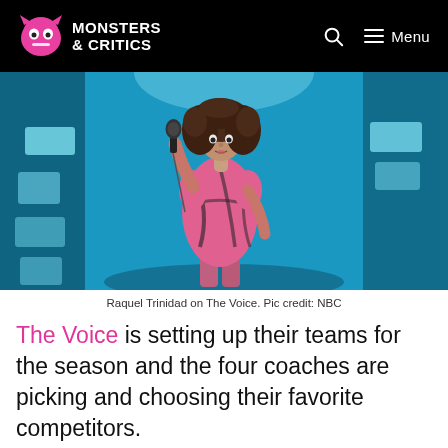Monsters & Critics
[Figure (photo): A young woman with curly hair singing into a microphone on a stage lit with blue lighting, wearing a pink patterned dress. This is Raquel Trinidad performing on The Voice.]
Raquel Trinidad on The Voice. Pic credit: NBC
The Voice is setting up their teams for the season and the four coaches are picking and choosing their favorite competitors.